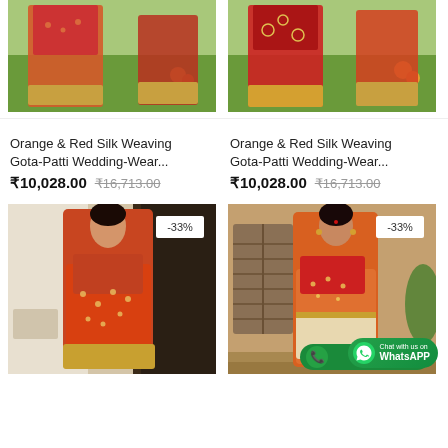[Figure (photo): Woman wearing orange and red silk saree with gold border, outdoor garden background, no discount badge visible in top crop]
[Figure (photo): Woman wearing orange and red silk saree with gold border, outdoor garden background, no discount badge visible in top crop]
Orange & Red Silk Weaving Gota-Patti Wedding-Wear...
Orange & Red Silk Weaving Gota-Patti Wedding-Wear...
₹10,028.00  ₹16,713.00
₹10,028.00  ₹16,713.00
[Figure (photo): Woman in orange-red Banarasi silk saree with gold weaving, standing indoors, -33% discount badge shown]
[Figure (photo): Woman in orange silk saree with heavy gold embroidery border, standing outdoors, -33% discount badge shown, WhatsApp chat button in bottom right corner]